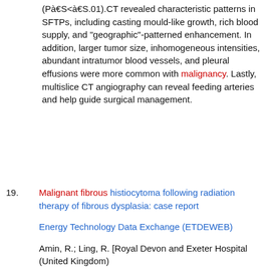(P≤S<≤S.01).CT revealed characteristic patterns in SFTPs, including casting mould-like growth, rich blood supply, and "geographic"-patterned enhancement. In addition, larger tumor size, inhomogeneous intensities, abundant intratumor blood vessels, and pleural effusions were more common with malignancy. Lastly, multislice CT angiography can reveal feeding arteries and help guide surgical management.
19. Malignant fibrous histiocytoma following radiation therapy of fibrous dysplasia: case report

Energy Technology Data Exchange (ETDEWEB)

Amin, R.; Ling, R. [Royal Devon and Exeter Hospital (United Kingdom)

1995-10-01

Malignant fibrous histiocytoma commonly occurs spontaneously. In some cases it follows previous therapeutic or incidental irradiation, or miscellaneous pre-existing osseous conditions. Recently, it has been associated with total hip arthroplasty. We report a case of malignant fibrous histocytoma following radiation therapy of fibrous dysplasia and review